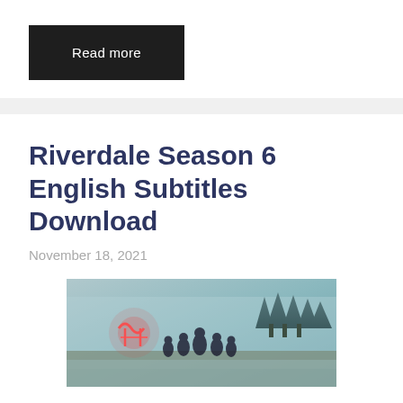Read more
Riverdale Season 6 English Subtitles Download
November 18, 2021
[Figure (photo): Promotional image for Riverdale Season 6 showing cast members with a misty forest background and a red neon sign]